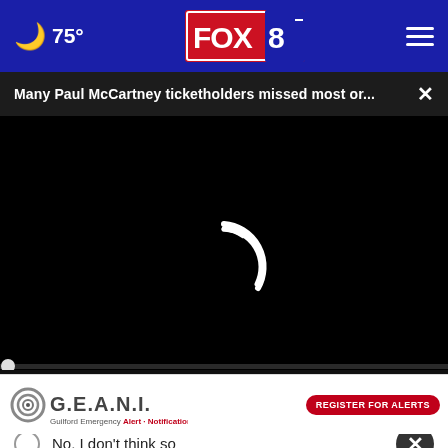🌙 75° | FOX 8
Many Paul McCartney ticketholders missed most or... ×
[Figure (screenshot): Black video player with loading spinner (arc) and playback controls bar showing 00:00 timecode]
No, I don't think so
[Figure (logo): G.E.A.N.I. Guilford Emergency Alert Notification Information logo with Register for Alerts button]